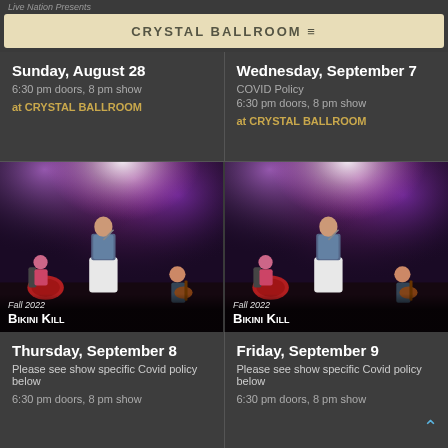Live Nation Presents
CRYSTAL BALLROOM ≡
Sunday, August 28
6:30 pm doors, 8 pm show
at CRYSTAL BALLROOM
Wednesday, September 7
COVID Policy
6:30 pm doors, 8 pm show
at CRYSTAL BALLROOM
[Figure (photo): Concert stage photo: female singer in sparkly top and white skirt performing with band under purple and pink stage lighting — Fall 2022 Bikini Kill]
Fall 2022
Bikini Kill
[Figure (photo): Concert stage photo (duplicate): female singer in sparkly top and white skirt performing with band under purple and pink stage lighting — Fall 2022 Bikini Kill]
Fall 2022
Bikini Kill
Thursday, September 8
Please see show specific Covid policy below
6:30 pm doors, 8 pm show
Friday, September 9
Please see show specific Covid policy below
6:30 pm doors, 8 pm show